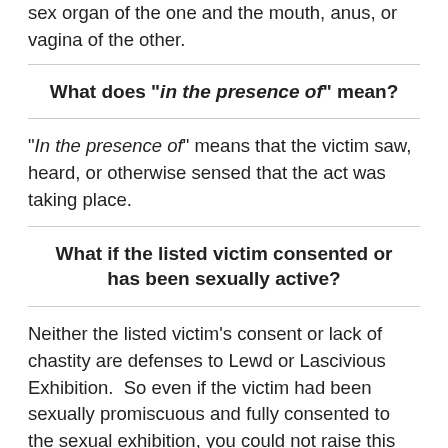sex organ of the one and the mouth, anus, or vagina of the other.
What does "in the presence of" mean?
"In the presence of" means that the victim saw, heard, or otherwise sensed that the act was taking place.
What if the listed victim consented or has been sexually active?
Neither the listed victim's consent or lack of chastity are defenses to Lewd or Lascivious Exhibition.  So even if the victim had been sexually promiscuous and fully consented to the sexual exhibition, you could not raise this